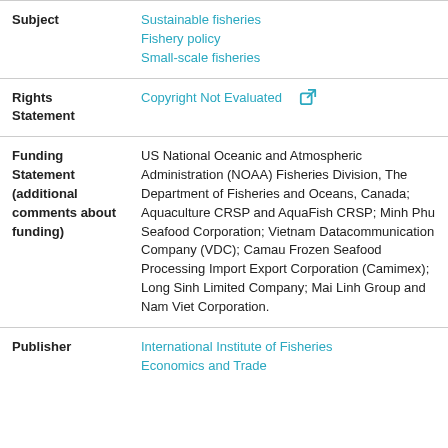| Field | Value |
| --- | --- |
| Subject | Sustainable fisheries
Fishery policy
Small-scale fisheries |
| Rights Statement | Copyright Not Evaluated [icon] |
| Funding Statement (additional comments about funding) | US National Oceanic and Atmospheric Administration (NOAA) Fisheries Division, The Department of Fisheries and Oceans, Canada; Aquaculture CRSP and AquaFish CRSP; Minh Phu Seafood Corporation; Vietnam Datacommunication Company (VDC); Camau Frozen Seafood Processing Import Export Corporation (Camimex); Long Sinh Limited Company; Mai Linh Group and Nam Viet Corporation. |
| Publisher | International Institute of Fisheries Economics and Trade |